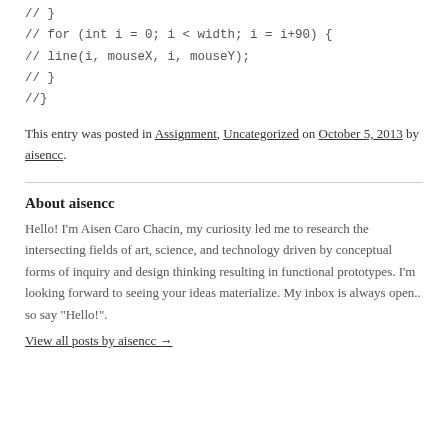// }
// for (int i = 0; i < width; i = i+90) {
// line(i, mouseX, i, mouseY);
// }
//}
This entry was posted in Assignment, Uncategorized on October 5, 2013 by aisencc.
About aisencc
Hello! I'm Aisen Caro Chacin, my curiosity led me to research the intersecting fields of art, science, and technology driven by conceptual forms of inquiry and design thinking resulting in functional prototypes. I'm looking forward to seeing your ideas materialize. My inbox is always open.. so say "Hello!".
View all posts by aisencc →